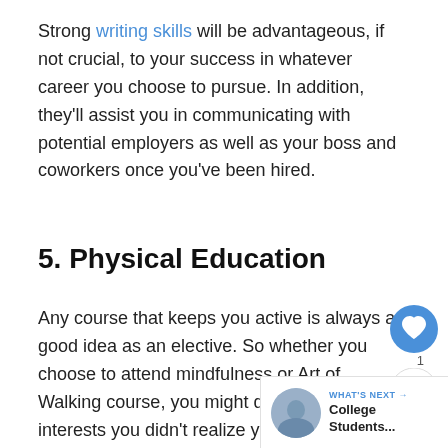Strong writing skills will be advantageous, if not crucial, to your success in whatever career you choose to pursue. In addition, they'll assist you in communicating with potential employers as well as your boss and coworkers once you've been hired.
5. Physical Education
Any course that keeps you active is always a good idea as an elective. So whether you choose to attend mindfulness or Art of Walking course, you might discover new interests you didn't realize you had!.
[Figure (other): Heart/like button (blue circle with heart icon) and share button (white circle with share icon), with like count '1']
[Figure (other): What's Next panel with thumbnail photo and text 'WHAT'S NEXT → College Students...']